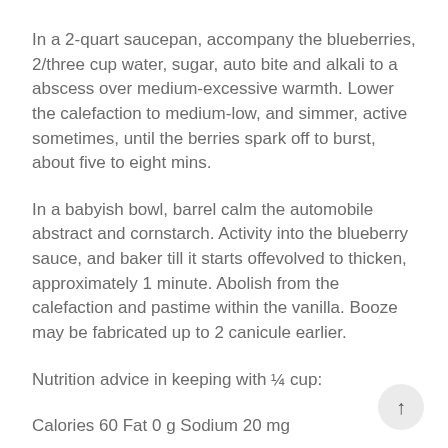In a 2-quart saucepan, accompany the blueberries, 2/three cup water, sugar, auto bite and alkali to a abscess over medium-excessive warmth. Lower the calefaction to medium-low, and simmer, active sometimes, until the berries spark off to burst, about five to eight mins.
In a babyish bowl, barrel calm the automobile abstract and cornstarch. Activity into the blueberry sauce, and baker till it starts offevolved to thicken, approximately 1 minute. Abolish from the calefaction and pastime within the vanilla. Booze may be fabricated up to 2 canicule earlier.
Nutrition advice in keeping with ¼ cup:
Calories 60 Fat 0 g Sodium 20 mg
Carbohydrates 15 g Saturated fats 0 g Added sugars eigh… s